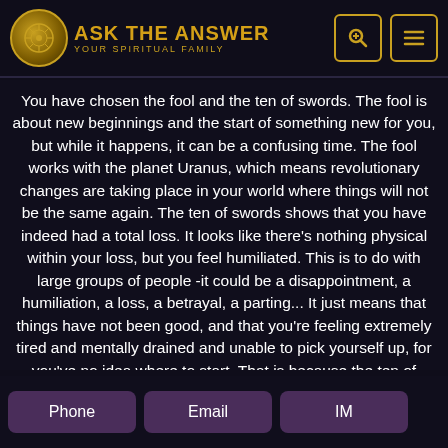ASK THE ANSWER — YOUR SPIRITUAL FAMILY
You have chosen the fool and the ten of swords. The fool is about new beginnings and the start of something new for you, but while it happens, it can be a confusing time. The fool works with the planet Uranus, which means revolutionary changes are taking place in your world where things will not be the same again. The ten of swords shows that you have indeed had a total loss. It looks like there's nothing physical within your loss, but you feel humiliated. This is to do with large groups of people -it could be a disappointment, a humiliation, a loss, a betrayal, a parting... It just means that things have not been good, and that you're feeling extremely tired and mentally drained and unable to pick yourself up, for you've no idea where to start. That is because the ten of swords is the final lesson within the sword family, for it shows that you have gone through all the stages of learning, until you've reached a situation where you must learn to let go, and by letting go, you can move on into a new chapter. So new
Phone   Email   IM